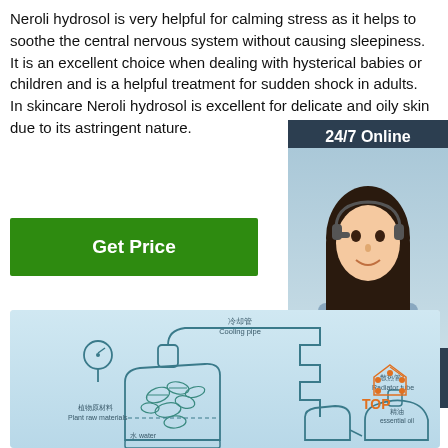Neroli hydrosol is very helpful for calming stress as it helps to soothe the central nervous system without causing sleepiness. It is an excellent choice when dealing with hysterical babies or children and is a helpful treatment for sudden shock in adults. In skincare Neroli hydrosol is excellent for delicate and oily skin due to its astringent nature.
Get Price
[Figure (infographic): Customer support sidebar with '24/7 Online' header, photo of woman with headset, 'Click here for free chat!' text, and orange QUOTATION button]
[Figure (engineering-diagram): Distillation process diagram showing plant raw materials and water in a flask with cooling pipe, radiator tube, essential oil output. Labels in Chinese and English: 冷却管 Cooling pipe, 散热管 Radiator tube, 植物原材料 Plant raw materials, 水 water, 精油 essential oil. TOP logo in orange.]